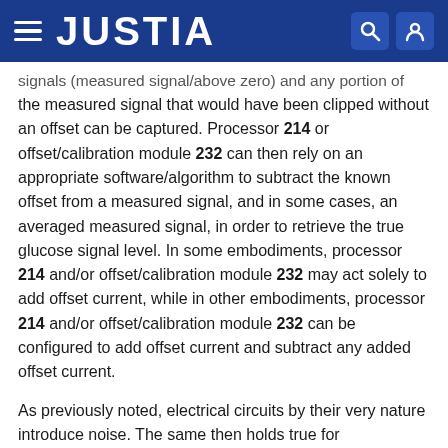JUSTIA
signals (measured signal/above zero) and any portion of the measured signal that would have been clipped without an offset can be captured. Processor 214 or offset/calibration module 232 can then rely on an appropriate software/algorithm to subtract the known offset from a measured signal, and in some cases, an averaged measured signal, in order to retrieve the true glucose signal level. In some embodiments, processor 214 and/or offset/calibration module 232 may act solely to add offset current, while in other embodiments, processor 214 and/or offset/calibration module 232 can be configured to add offset current and subtract any added offset current.
As previously noted, electrical circuits by their very nature introduce noise. The same then holds true for offset/calibration module 232. That is, the use of offset circuitry in offset/calibration module 232 adds another